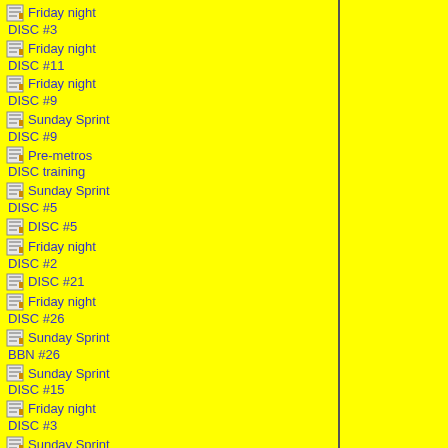Friday night DISC #3
Friday night DISC #11
Friday night DISC #9
Sunday Sprint DISC #9
Pre-metros DISC training
Sunday Sprint DISC #5
DISC #5
Friday night DISC #2
DISC #21
Friday night DISC #26
Sunday Sprint BBN #26
Sunday Sprint DISC #15
Friday night DISC #3
Sunday Sprint DISC #3
Sunday Sprint